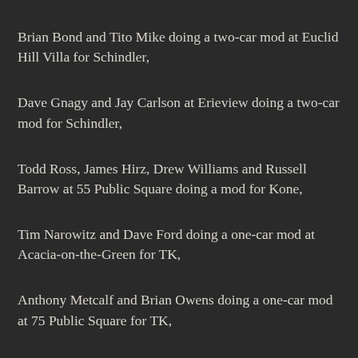Brian Bond and Tito Mike doing a two-car mod at Euclid Hill Villa for Schindler,
Dave Gnagy and Jay Carlson at Erieview doing a two-car mod for Schindler,
Todd Ross, James Hirz, Drew Williams and Russell Barrow at 55 Public Square doing a mod for Kone,
Tim Narowitz and Dave Ford doing a one-car mod at Acacia-on-the-Green for TK,
Anthony Metcalf and Brian Owens doing a one-car mod at 75 Public Square for TK,